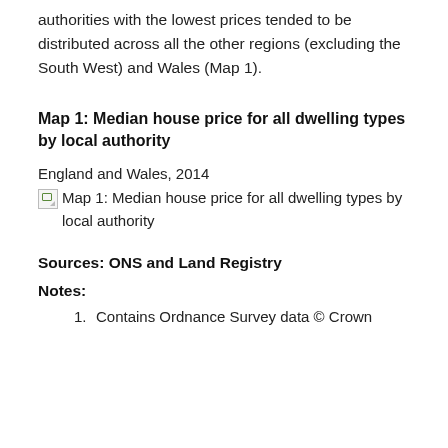authorities with the lowest prices tended to be distributed across all the other regions (excluding the South West) and Wales (Map 1).
Map 1: Median house price for all dwelling types by local authority
England and Wales, 2014
[Figure (map): Broken image placeholder: Map 1: Median house price for all dwelling types by local authority]
Sources: ONS and Land Registry
Notes:
Contains Ordnance Survey data © Crown